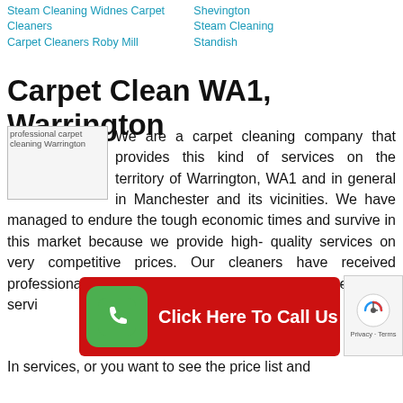Steam Cleaning Widnes Carpet Cleaners Carpet Cleaners Roby Mill Shevington Steam Cleaning Standish
Carpet Clean WA1, Warrington
[Figure (photo): professional carpet cleaning Warrington - placeholder image]
We are a carpet cleaning company that provides this kind of services on the territory of Warrington, WA1 and in general in Manchester and its vicinities. We have managed to endure the tough economic times and survive in this market because we provide high- quality services on very competitive prices. Our cleaners have received professional training so that we could ensure you the best of services.
[Figure (infographic): Red banner with green phone icon and text: Click Here To Call Us]
In services, or you want to see the price list and